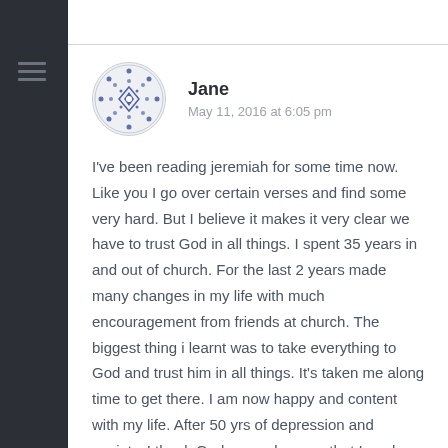[Figure (illustration): Dark left sidebar with hamburger menu icon (three horizontal lines)]
Jane
May 11, 2016 at 6:05 pm
I've been reading jeremiah for some time now. Like you I go over certain verses and find some very hard. But I believe it makes it very clear we have to trust God in all things. I spent 35 years in and out of church. For the last 2 years made many changes in my life with much encouragement from friends at church. The biggest thing i learnt was to take everything to God and trust him in all things. It's taken me along time to get there. I am now happy and content with my life. After 50 yrs of depression and anxiety. I thank God every day now that I am here and i gave him control. Praise God in Jesus name.